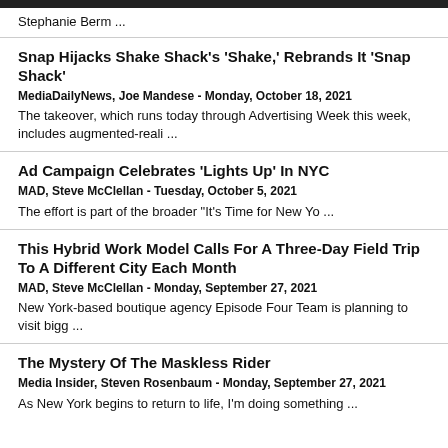Stephanie Berm ...
Snap Hijacks Shake Shack's 'Shake,' Rebrands It 'Snap Shack' | MediaDailyNews, Joe Mandese - Monday, October 18, 2021 | The takeover, which runs today through Advertising Week this week, includes augmented-reali ...
Ad Campaign Celebrates 'Lights Up' In NYC | MAD, Steve McClellan - Tuesday, October 5, 2021 | The effort is part of the broader "It's Time for New Yo ...
This Hybrid Work Model Calls For A Three-Day Field Trip To A Different City Each Month | MAD, Steve McClellan - Monday, September 27, 2021 | New York-based boutique agency Episode Four Team is planning to visit bigg ...
The Mystery Of The Maskless Rider | Media Insider, Steven Rosenbaum - Monday, September 27, 2021 | As New York begins to return to life, I'm doing something ...